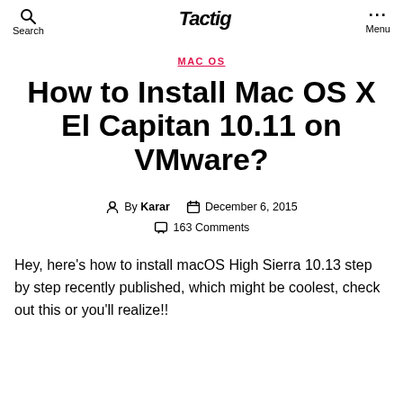Search | Tactig | Menu
MAC OS
How to Install Mac OS X El Capitan 10.11 on VMware?
By Karar   December 6, 2015   163 Comments
Hey, here's how to install macOS High Sierra 10.13 step by step recently published, which might be coolest, check out this or you'll realize!!